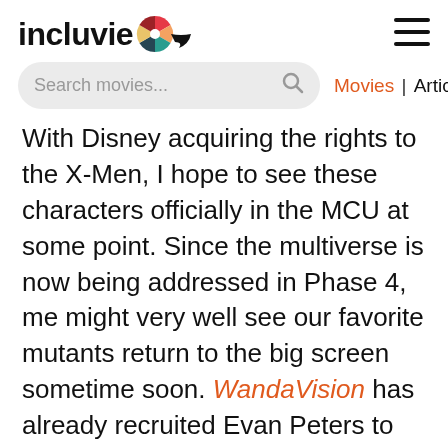incluvie [logo] ☰
Search movies...  Movies | Articles
With Disney acquiring the rights to the X-Men, I hope to see these characters officially in the MCU at some point. Since the multiverse is now being addressed in Phase 4, me might very well see our favorite mutants return to the big screen sometime soon. WandaVision has already recruited Evan Peters to portray Wanda's deceased brother Pietro — but is he actually playing Peter Maximoff? Who knows! All I know is that I